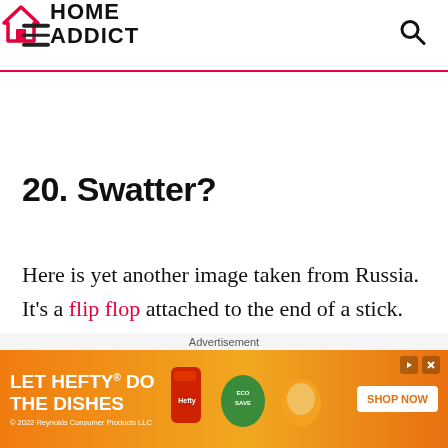HOME ADDICT
20. Swatter?
Here is yet another image taken from Russia. It's a flip flop attached to the end of a stick. We're not sure if this is used for fly-swatting, or if a grandma is holding it on standby to
[Figure (other): Advertisement banner: LET HEFTY DO THE DISHES with product images and SHOP NOW button]